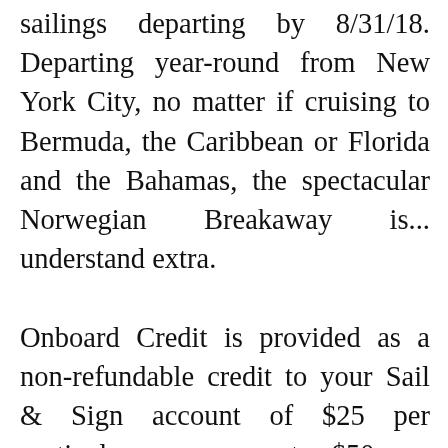sailings departing by 8/31/18. Departing year-round from New York City, no matter if cruising to Bermuda, the Caribbean or Florida and the Bahamas, the spectacular Norwegian Breakaway is... understand extra.

Onboard Credit is provided as a non-refundable credit to your Sail & Sign account of $25 per particular person up to $50 per stateroom. Onboard spending is non-